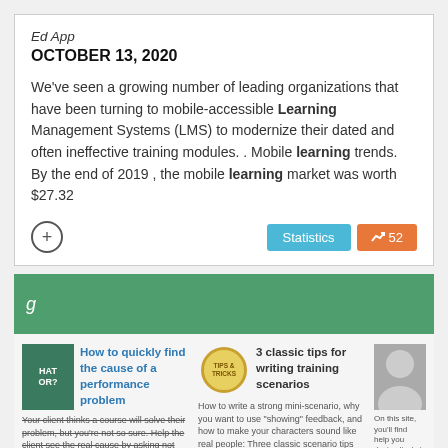Ed App
OCTOBER 13, 2020
We've seen a growing number of leading organizations that have been turning to mobile-accessible Learning Management Systems (LMS) to modernize their dated and often ineffective training modules. . Mobile learning trends. By the end of 2019 , the mobile learning market was worth $27.32
[Figure (screenshot): Plus button and Statistics / trending badges]
[Figure (screenshot): Green navigation bar with italic text 'g']
[Figure (screenshot): Bottom section with three article cards: 1) How to quickly find the cause of a performance problem 2) 3 classic tips for writing training scenarios 3) partial card with person photo]